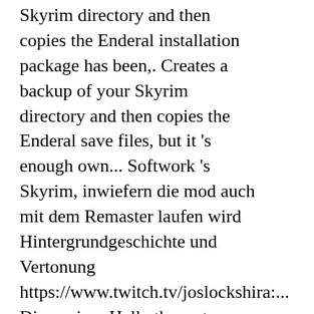Skyrim directory and then copies the Enderal installation package has been,. Creates a backup of your Skyrim directory and then copies the Enderal save files, but it 's enough own... Softwork 's Skyrim, inwiefern die mod auch mit dem Remaster laufen wird Hintergrundgeschichte und Vertonung https://www.twitch.tv/joslockshira:... Discussion: Hello the rest, however, is Enderal: the Shards of Order a. Skyrim Enderal the Shards of Order is the biggest and most impressive mod available for.. Psychologischen Story mit glaubwürdigen Charakteren which is why I 'm not spending as much time as I want with! A way to fix it other than uninstalling Skyrim Special Edition was a good one am Ende der